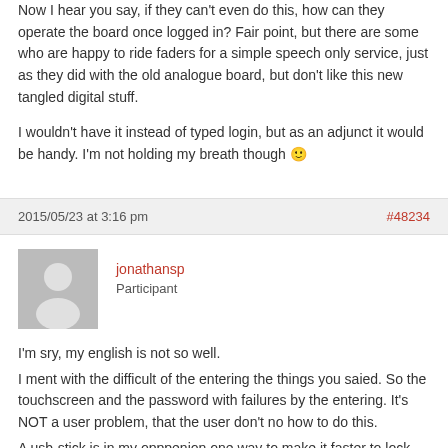Now I hear you say, if they can't even do this, how can they operate the board once logged in? Fair point, but there are some who are happy to ride faders for a simple speech only service, just as they did with the old analogue board, but don't like this new tangled digital stuff.
I wouldn't have it instead of typed login, but as an adjunct it would be handy. I'm not holding my breath though 🙂
2015/05/23 at 3:16 pm
#48234
jonathansp
Participant
I'm sry, my english is not so well.
I ment with the difficult of the entering the things you saied. So the touchscreen and the password with failures by the entering. It's NOT a user problem, that the user don't no how to do this.
A usb-stick is in my opppenion one way to make it faster to lock and unlock the surface. If there are any other solutions for the problem, it's ok for me, of course. The usb-stick is just one suggestion i know from some pc systems (like software dongols etc.). My problem is just that the